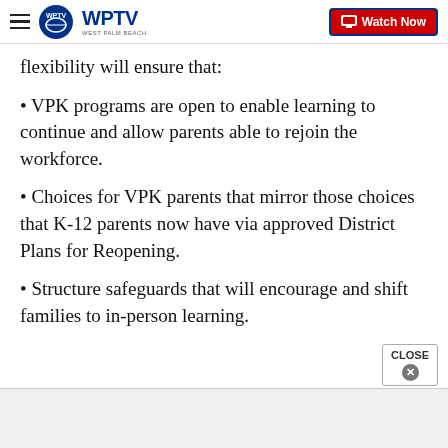WPTV - West Palm Beach | Watch Now
flexibility will ensure that:
VPK programs are open to enable learning to continue and allow parents able to rejoin the workforce.
Choices for VPK parents that mirror those choices that K-12 parents now have via approved District Plans for Reopening.
Structure safeguards that will encourage and shift families to in-person learning.